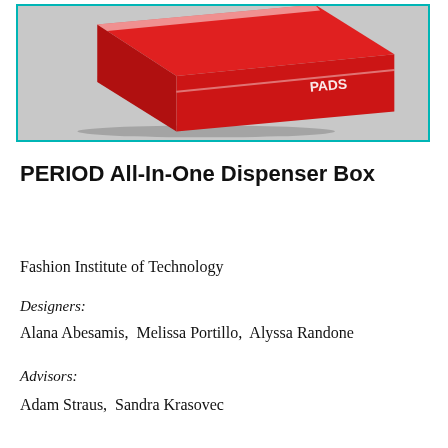[Figure (photo): A red box product labeled PADS, photographed at an angle against a light gray background, showing the top and two sides of the box. The box has a white stripe on the lid and a white PADS logo on the side.]
PERIOD All-In-One Dispenser Box
Fashion Institute of Technology
Designers:
Alana Abesamis,  Melissa Portillo,  Alyssa Randone
Advisors:
Adam Straus,  Sandra Krasovec